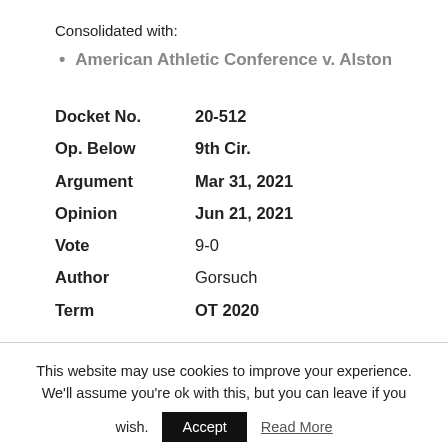Consolidated with:
American Athletic Conference v. Alston
| Field | Value |
| --- | --- |
| Docket No. | 20-512 |
| Op. Below | 9th Cir. |
| Argument | Mar 31, 2021 |
| Opinion | Jun 21, 2021 |
| Vote | 9-0 |
| Author | Gorsuch |
| Term | OT 2020 |
This website may use cookies to improve your experience. We'll assume you're ok with this, but you can leave if you wish.
Accept
Read More